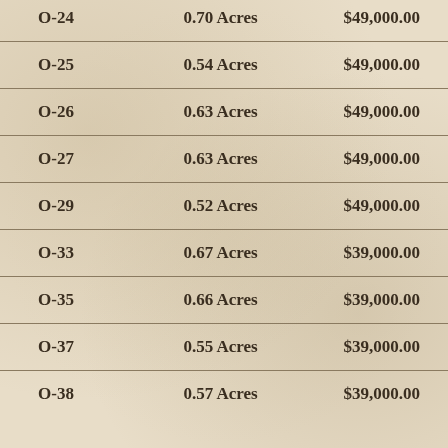| Lot | Size | Price |
| --- | --- | --- |
| O-24 | 0.70 Acres | $49,000.00 |
| O-25 | 0.54 Acres | $49,000.00 |
| O-26 | 0.63 Acres | $49,000.00 |
| O-27 | 0.63 Acres | $49,000.00 |
| O-29 | 0.52 Acres | $49,000.00 |
| O-33 | 0.67 Acres | $39,000.00 |
| O-35 | 0.66 Acres | $39,000.00 |
| O-37 | 0.55 Acres | $39,000.00 |
| O-38 | 0.57 Acres | $39,000.00 |